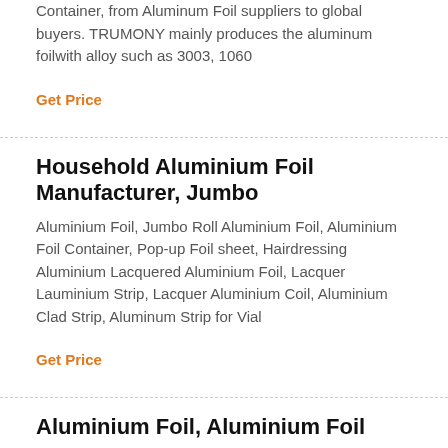Container, from Aluminum Foil suppliers to global buyers. TRUMONY mainly produces the aluminum foilwith alloy such as 3003, 1060
Get Price
Household Aluminium Foil Manufacturer, Jumbo
Aluminium Foil, Jumbo Roll Aluminium Foil, Aluminium Foil Container, Pop-up Foil sheet, Hairdressing Aluminium Lacquered Aluminium Foil, Lacquer Lauminium Strip, Lacquer Aluminium Coil, Aluminium Clad Strip, Aluminum Strip for Vial
Get Price
Aluminium Foil, Aluminium Foil
Aluminium Foil, Aluminium Foil Suppliers and Manufacturers Directory - Source a Large Selection of Aluminium Foil Products at aluminum foil